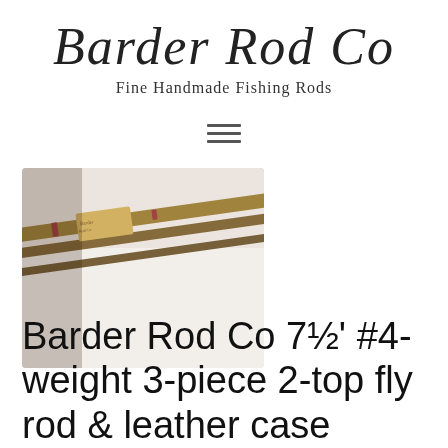Barder Rod Co
Fine Handmade Fishing Rods
[Figure (photo): Photograph of fishing rod sections laid together, showing bamboo/wooden rod pieces with guides and wrappings, muted warm tones]
Barder Rod Co 7½' #4-weight 3-piece 2-top fly rod & leather case